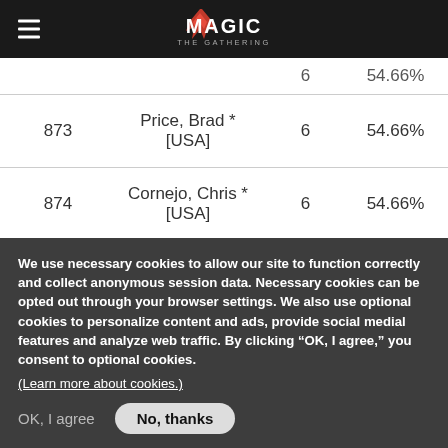Magic: The Gathering
| Rank | Name | Points | OMW% |
| --- | --- | --- | --- |
|  | (partially visible row) | 6 | 54.66% |
| 873 | Price, Brad * [USA] | 6 | 54.66% |
| 874 | Cornejo, Chris * [USA] | 6 | 54.66% |
| 875 | Coufal, Tarl * [USA] | 6 | 54.66% |
| 876 | Collins, Sean A * [USA] | 6 | 54.16% |
We use necessary cookies to allow our site to function correctly and collect anonymous session data. Necessary cookies can be opted out through your browser settings. We also use optional cookies to personalize content and ads, provide social medial features and analyze web traffic. By clicking “OK, I agree,” you consent to optional cookies.
(Learn more about cookies.)
OK, I agree    No, thanks